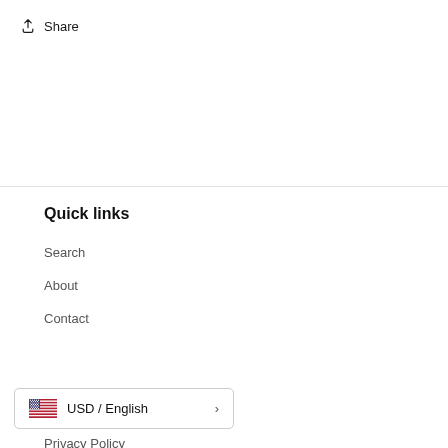Share
Quick links
Search
About
Contact
USD / English
Privacy Policy